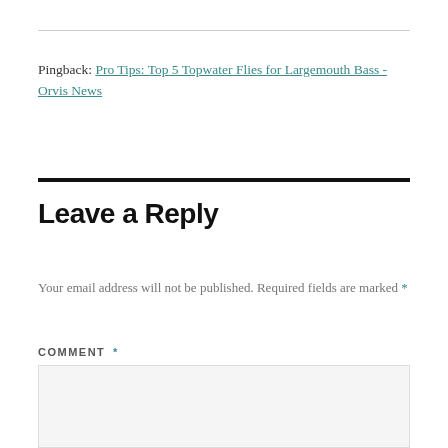Pingback: Pro Tips: Top 5 Topwater Flies for Largemouth Bass - Orvis News
Leave a Reply
Your email address will not be published. Required fields are marked *
COMMENT *